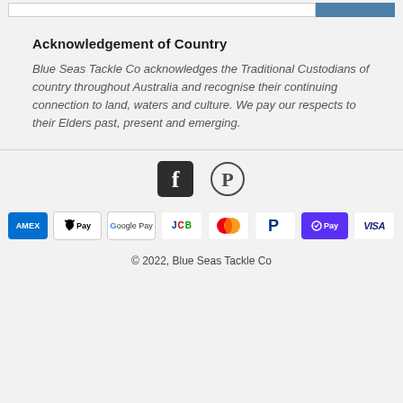Acknowledgement of Country
Blue Seas Tackle Co acknowledges the Traditional Custodians of country throughout Australia and recognise their continuing connection to land, waters and culture. We pay our respects to their Elders past, present and emerging.
[Figure (logo): Social media icons: Facebook and Pinterest]
[Figure (infographic): Payment method badges: American Express, Apple Pay, Google Pay, JCB, Mastercard, PayPal, Shop Pay, Visa]
© 2022, Blue Seas Tackle Co